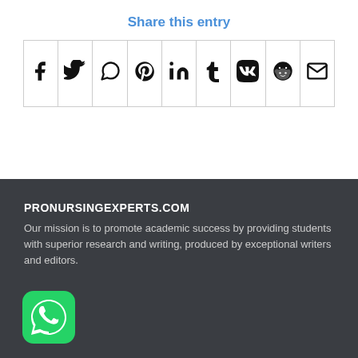Share this entry
[Figure (other): Social media share icons row: Facebook, Twitter, WhatsApp, Pinterest, LinkedIn, Tumblr, VK, Reddit, Email]
PRONURSINGEXPERTS.COM
Our mission is to promote academic success by providing students with superior research and writing, produced by exceptional writers and editors.
[Figure (logo): WhatsApp green icon logo]